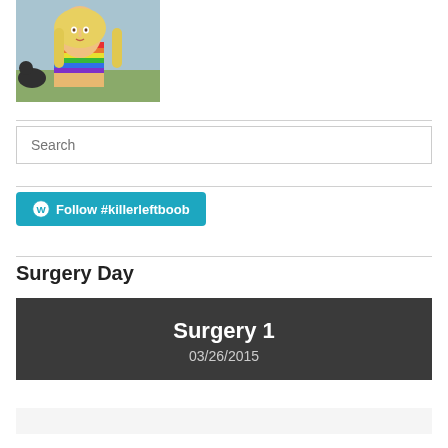[Figure (photo): A woman with long blonde hair holding a finger to her lips, wearing a rainbow-striped outfit, outdoors with a dog visible in background.]
Search
[Figure (other): WordPress Follow button: Follow #killerleftboob]
Surgery Day
Surgery 1
03/26/2015